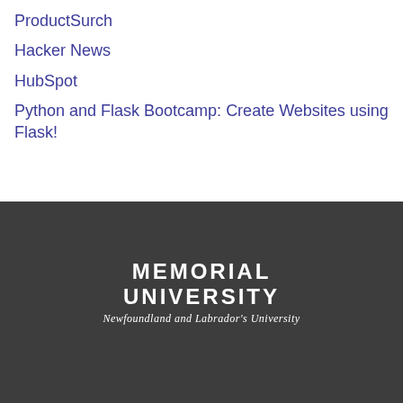ProductSurch
Hacker News
HubSpot
Python and Flask Bootcamp: Create Websites using Flask!
[Figure (logo): Memorial University logo with text 'MEMORIAL UNIVERSITY' and tagline 'Newfoundland and Labrador's University']
[Figure (infographic): Social media icons: Twitter, Facebook, Instagram, YouTube]